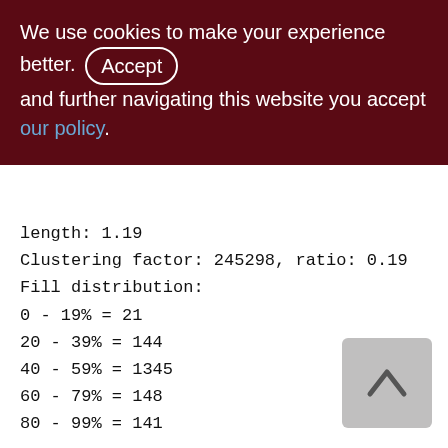We use cookies to make your experience better. By accepting and further navigating this website you accept our policy.
length: 1.19
Clustering factor: 245298, ratio: 0.19
Fill distribution:
0 - 19% = 21
20 - 39% = 144
40 - 59% = 1345
60 - 79% = 148
80 - 99% = 141

XQD_1200_2000 (261)
Primary pointer page: 777, Index root page: 778